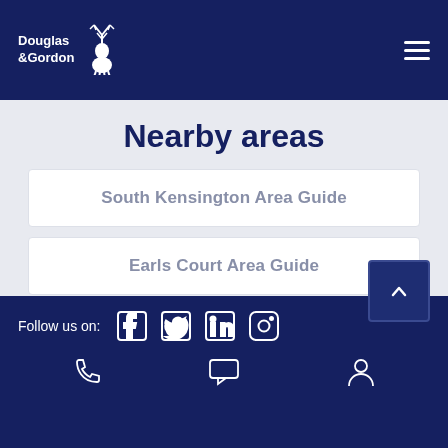Douglas & Gordon — navigation header with logo and hamburger menu
Nearby areas
South Kensington Area Guide
Earls Court Area Guide
Chelsea Area Guide
Knightsbridge Area Guide
Belgravia Area Guide
Follow us on: Facebook, Twitter, LinkedIn, Instagram; phone, chat, account icons